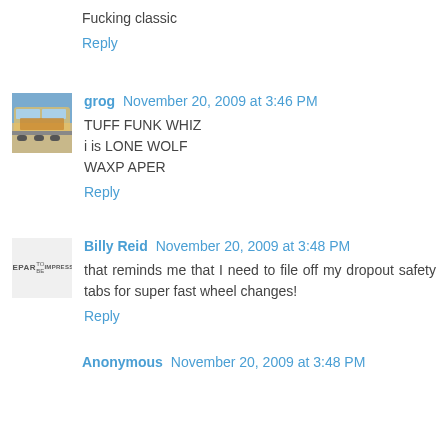Fucking classic
Reply
grog November 20, 2009 at 3:46 PM
TUFF FUNK WHIZ
i is LONE WOLF
WAXP APER
Reply
Billy Reid November 20, 2009 at 3:48 PM
that reminds me that I need to file off my dropout safety tabs for super fast wheel changes!
Reply
Anonymous November 20, 2009 at 3:48 PM